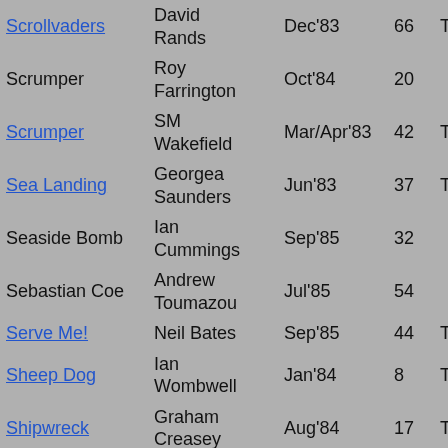| Title | Author | Date | Issue | Col5 | Col6 | Col7 |
| --- | --- | --- | --- | --- | --- | --- |
| Scrollvaders | David Rands | Dec'83 | 66 | TAP | SP | C |
| Scrumper | Roy Farrington | Oct'84 | 20 |  |  | C |
| Scrumper | SM Wakefield | Mar/Apr'83 | 42 | TAP | SP | C |
| Sea Landing | Georgea Saunders | Jun'83 | 37 | TAP | SP | C |
| Seaside Bomb | Ian Cummings | Sep'85 | 32 |  |  | C |
| Sebastian Coe | Andrew Toumazou | Jul'85 | 54 |  |  | C |
| Serve Me! | Neil Bates | Sep'85 | 44 | TAP | SP | C |
| Sheep Dog | Ian Wombwell | Jan'84 | 8 | TAP | SP | C |
| Shipwreck | Graham Creasey | Aug'84 | 17 | TAP | SP | C |
| Shoot / Sky Shoot | David G Price | Nov/Dec'82 | 42 | TAP | SP | C |
| Shoot Out | IH Balchin | Sep'83 | 30 | TAP | SP | C |
| Shoplist | Nigel Copage | Mar/Apr'83 | 14 | TAP | SP | D |
| Sheep Bottom? | Philip | Jan'84? | 22? | TAP | SP |  |